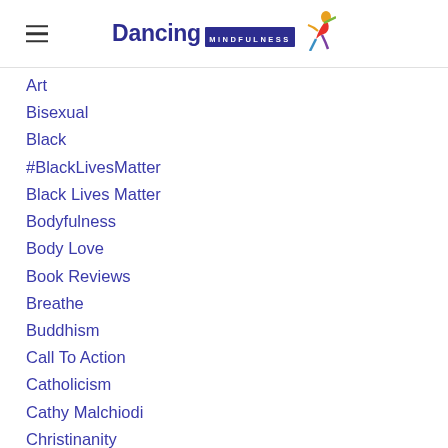Dancing Mindfulness
Art
Bisexual
Black
#BlackLivesMatter
Black Lives Matter
Bodyfulness
Body Love
Book Reviews
Breathe
Buddhism
Call To Action
Catholicism
Cathy Malchiodi
Christinanity
Christine Valters Paintner
Church
Church Of The Dude
Clinical Self-care